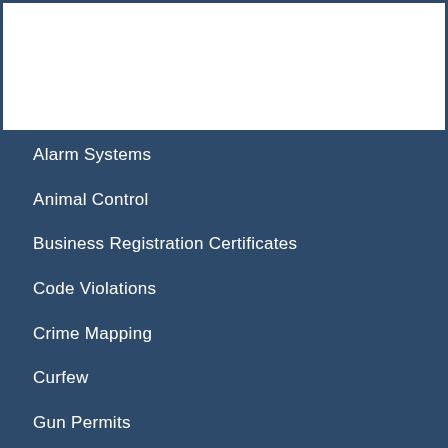Alarm Systems
Animal Control
Business Registration Certificates
Code Violations
Crime Mapping
Curfew
Gun Permits